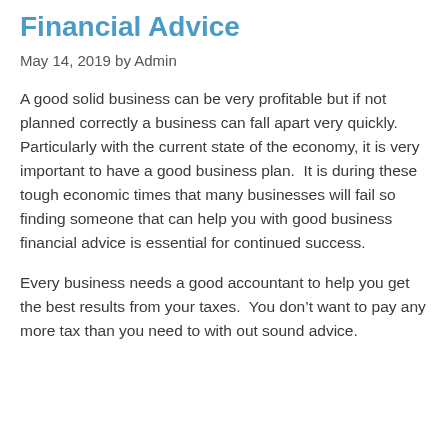Financial Advice
May 14, 2019 by Admin
A good solid business can be very profitable but if not planned correctly a business can fall apart very quickly.  Particularly with the current state of the economy, it is very important to have a good business plan.  It is during these tough economic times that many businesses will fail so finding someone that can help you with good business financial advice is essential for continued success.
Every business needs a good accountant to help you get the best results from your taxes.  You don’t want to pay any more tax than you need to with out sound advice.